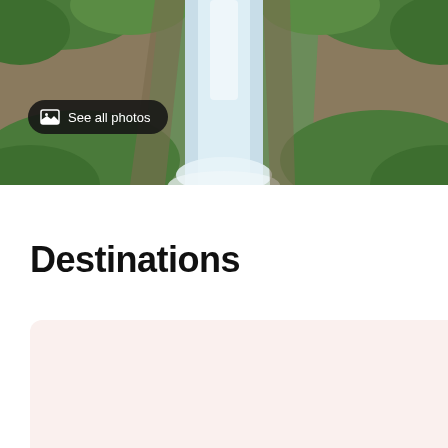[Figure (photo): Aerial view of a waterfall cascading over rocky cliffs surrounded by lush green vegetation]
See all photos
Destinations
[Figure (other): Light pinkish-beige destination card placeholder (left)]
[Figure (other): Light pinkish-beige destination card placeholder (right, partially visible)]